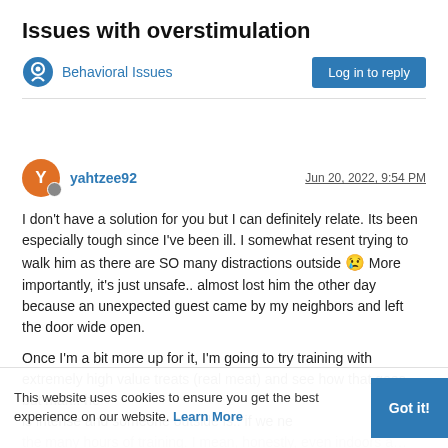Issues with overstimulation
Behavioral Issues
yahtzee92  Jun 20, 2022, 9:54 PM
I don't have a solution for you but I can definitely relate. Its been especially tough since I've been ill. I somewhat resent trying to walk him as there are SO many distractions outside 😢 More importantly, it's just unsafe.. almost lost him the other day because an unexpected guest came by my neighbors and left the door wide open.

Once I'm a bit more up for it, I'm going to try training with extremely high value treats (real meat) and see how that goes.. but man.. he is intense and someone outside is.. if we ne… the many hours of training. I mean, honestly, even indoors a…
This website uses cookies to ensure you get the best experience on our website. Learn More